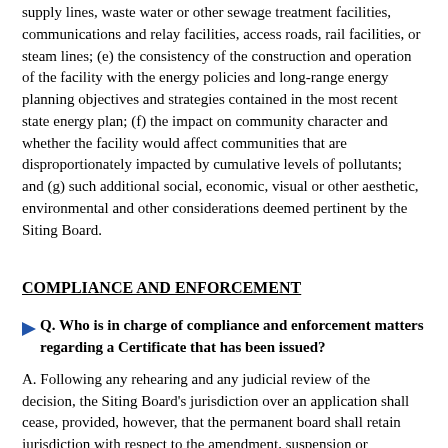supply lines, waste water or other sewage treatment facilities, communications and relay facilities, access roads, rail facilities, or steam lines; (e) the consistency of the construction and operation of the facility with the energy policies and long-range energy planning objectives and strategies contained in the most recent state energy plan; (f) the impact on community character and whether the facility would affect communities that are disproportionately impacted by cumulative levels of pollutants; and (g) such additional social, economic, visual or other aesthetic, environmental and other considerations deemed pertinent by the Siting Board.
COMPLIANCE AND ENFORCEMENT
Q. Who is in charge of compliance and enforcement matters regarding a Certificate that has been issued?
A. Following any rehearing and any judicial review of the decision, the Siting Board's jurisdiction over an application shall cease, provided, however, that the permanent board shall retain jurisdiction with respect to the amendment, suspension or revocation of a certificate. The Department of Public Service or the Public Service Commission shall monitor, enforce and administer compliance with any terms and conditions set forth in the Siting